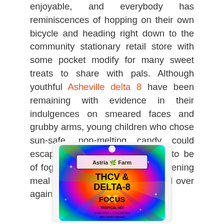enjoyable, and everybody has reminiscences of hopping on their own bicycle and heading right down to the community stationary retail store with some pocket modify for many sweet treats to share with pals. Although youthful Asheville delta 8 have been remaining with evidence in their indulgences on smeared faces and grubby arms, young children who chose sun-safe, non-melting candy could escape the questioning appears to be of fogeys wanting to know why evening meal was remaining untouched all over again.
[Figure (photo): Product photo of Astria Farm THCV & Delta-8 Focus Tropical Mix candy bag, featuring a rainbow-colored tie-dye style bag with a cannabis leaf logo, bold black text, and yellow star design. Text reads: Astria Farm, THCV & DELTA-8, FOCUS, TROPICAL MIX, 10 MG THCV & 10 MG DELTA-8, 100% HEMP DERIVED.]